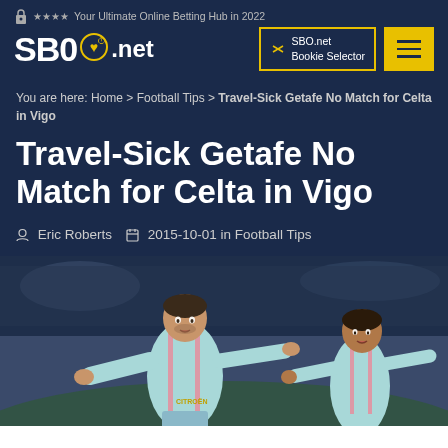SBO.net — Your Ultimate Online Betting Hub in 2022
You are here: Home > Football Tips > Travel-Sick Getafe No Match for Celta in Vigo
Travel-Sick Getafe No Match for Celta in Vigo
Eric Roberts  2015-10-01 in Football Tips
[Figure (photo): Two Celta Vigo football players in light blue and pink jerseys celebrating, one with arms outstretched]